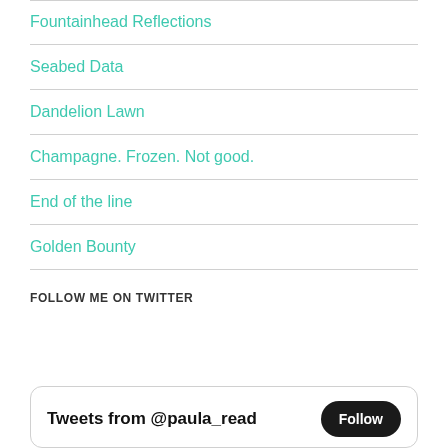Fountainhead Reflections
Seabed Data
Dandelion Lawn
Champagne. Frozen. Not good.
End of the line
Golden Bounty
FOLLOW ME ON TWITTER
Tweets from @paula_read